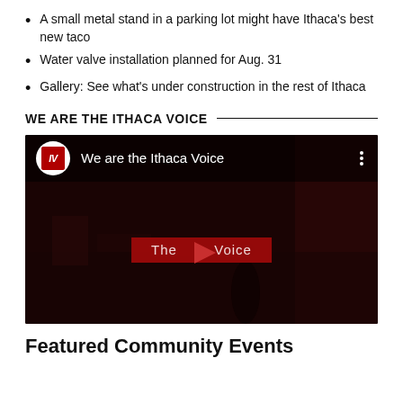A small metal stand in a parking lot might have Ithaca's best new taco
Water valve installation planned for Aug. 31
Gallery: See what's under construction in the rest of Ithaca
WE ARE THE ITHACA VOICE
[Figure (screenshot): Embedded YouTube-style video thumbnail titled 'We are the Ithaca Voice' with IV logo, dark red scene background, red banner text 'The Voice', and a play button in the center.]
Featured Community Events